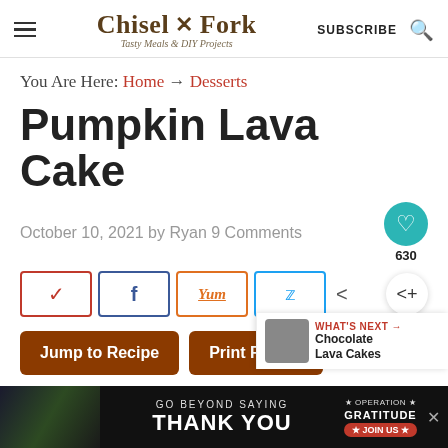Chisel & Fork — Tasty Meals & DIY Projects — SUBSCRIBE
You Are Here: Home → Desserts
Pumpkin Lava Cake
October 10, 2021 by Ryan 9 Comments
[Figure (infographic): Social share buttons: Pinterest, Facebook, Yummly, Twitter, and a share icon. Heart/like button with count 630.]
[Figure (other): Jump to Recipe and Print Recipe brown CTA buttons]
[Figure (other): What's Next panel showing Chocolate Lava Cakes with thumbnail image]
[Figure (other): Advertisement banner: GO BEYOND SAYING THANK YOU — Operation Gratitude JOIN US]